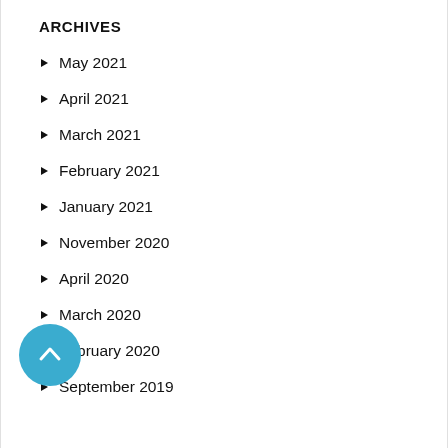ARCHIVES
May 2021
April 2021
March 2021
February 2021
January 2021
November 2020
April 2020
March 2020
February 2020
September 2019